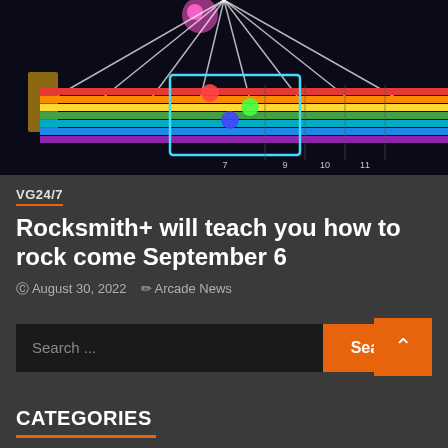[Figure (screenshot): Screenshot of Rocksmith+ video game showing colorful guitar highway with rainbow colored strings and musical notation overlay on dark background]
VG24/7
Rocksmith+ will teach you how to rock come September 6
August 30, 2022  Arcade News
Search ...
CATEGORIES